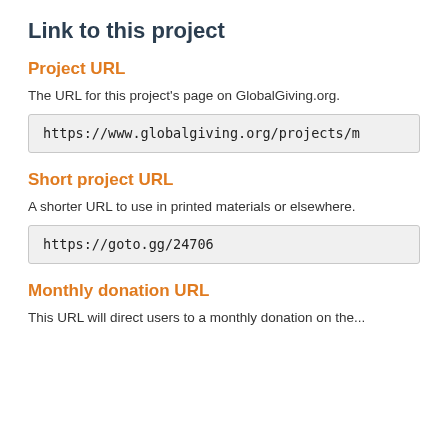Link to this project
Project URL
The URL for this project's page on GlobalGiving.org.
https://www.globalgiving.org/projects/m
Short project URL
A shorter URL to use in printed materials or elsewhere.
https://goto.gg/24706
Monthly donation URL
This URL will direct users to a monthly donation on the...